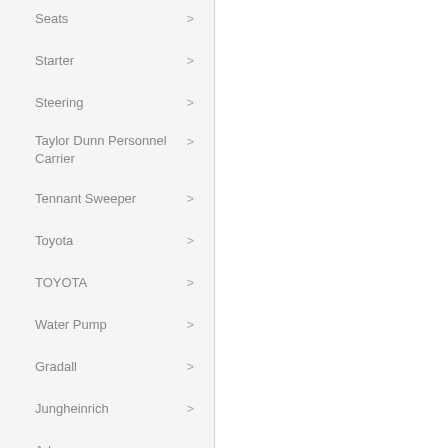Seats
Starter
Steering
Taylor Dunn Personnel Carrier
Tennant Sweeper
Toyota
TOYOTA
Water Pump
Gradall
Jungheinrich
Advance
Wix
Haulotte